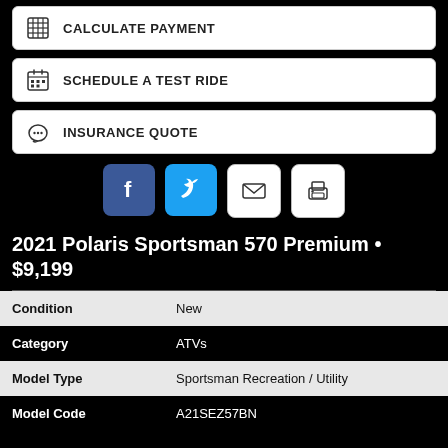CALCULATE PAYMENT
SCHEDULE A TEST RIDE
INSURANCE QUOTE
[Figure (infographic): Social sharing icons: Facebook, Twitter, Email, Print]
2021 Polaris Sportsman 570 Premium • $9,199
| Field | Value |
| --- | --- |
| Condition | New |
| Category | ATVs |
| Model Type | Sportsman Recreation / Utility |
| Model Code | A21SEZ57BN |